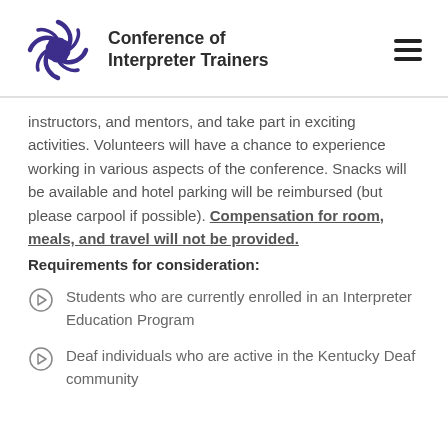Conference of Interpreter Trainers
instructors, and mentors, and take part in exciting activities. Volunteers will have a chance to experience working in various aspects of the conference. Snacks will be available and hotel parking will be reimbursed (but please carpool if possible). Compensation for room, meals, and travel will not be provided.
Requirements for consideration:
Students who are currently enrolled in an Interpreter Education Program
Deaf individuals who are active in the Kentucky Deaf community